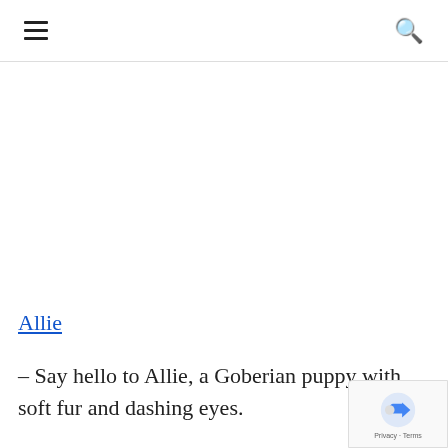≡  🔍
Allie
– Say hello to Allie, a Goberian puppy with soft fur and dashing eyes.
– This sweet gal is up to date on shots and dewormer plus she has been vet